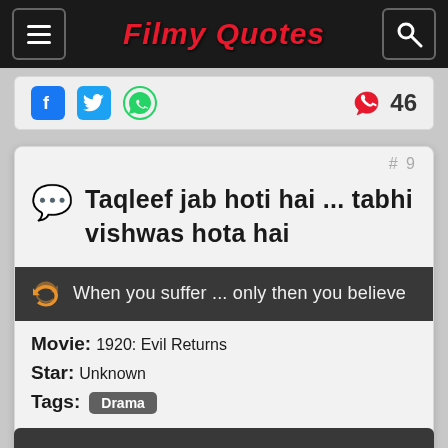Filmy Quotes
[Figure (screenshot): Share bar with Facebook, Twitter, WhatsApp icons and heart like count of 46]
#9
Taqleef jab hoti hai ... tabhi vishwas hota hai
When you suffer ... only then you believe
Movie: 1920: Evil Returns
Star: Unknown
Tags: Drama
[Figure (screenshot): Share bar with Facebook, Twitter, WhatsApp icons and heart like count of 42]
[Figure (screenshot): Bottom dark card bar partially visible]